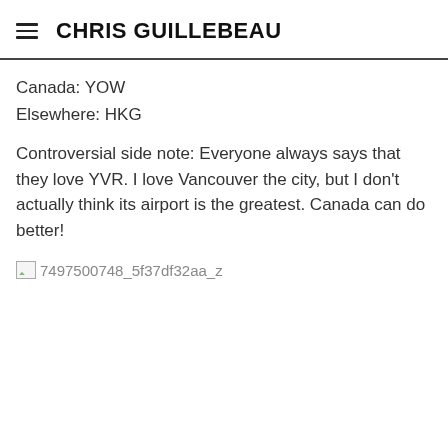CHRIS GUILLEBEAU
Canada: YOW
Elsewhere: HKG
Controversial side note: Everyone always says that they love YVR. I love Vancouver the city, but I don't actually think its airport is the greatest. Canada can do better!
[Figure (photo): Broken image placeholder with filename 7497500748_5f37df32aa_z]